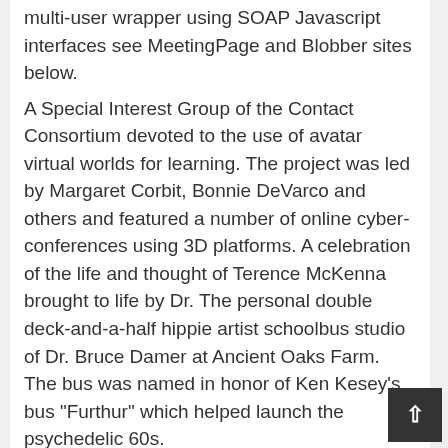multi-user wrapper using SOAP Javascript interfaces see MeetingPage and Blobber sites below.
A Special Interest Group of the Contact Consortium devoted to the use of avatar virtual worlds for learning. The project was led by Margaret Corbit, Bonnie DeVarco and others and featured a number of online cyber-conferences using 3D platforms. A celebration of the life and thought of Terence McKenna brought to life by Dr. The personal double deck-and-a-half hippie artist schoolbus studio of Dr. Bruce Damer at Ancient Oaks Farm. The bus was named in honor of Ken Kesey's bus "Furthur" which helped launch the psychedelic 60s.
NoFurther is a International Harvester conversion with a school bus shell on top, giving it 9 foot